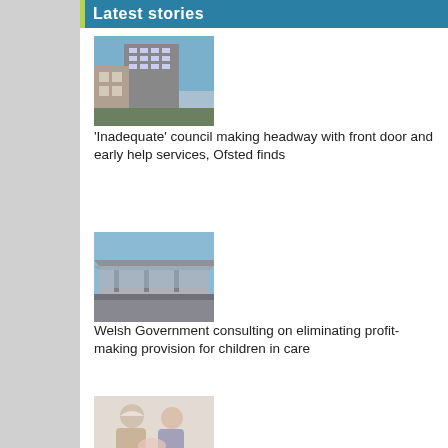Latest stories
[Figure (photo): Exterior photo of a multi-storey council or civic building against a blue sky]
'Inadequate' council making headway with front door and early help services, Ofsted finds
[Figure (photo): Photo of a modern low-profile building with a cantilevered roof, likely the Senedd or similar Welsh government building]
Welsh Government consulting on eliminating profit-making provision for children in care
[Figure (photo): Photo of an elderly woman and a younger person, possibly a carer, interacting warmly]